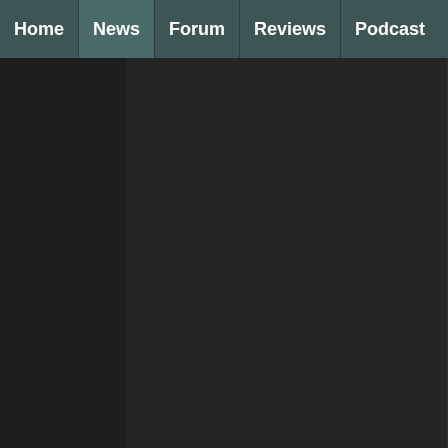Home | News | Forum | Reviews | Podcast
survival horror:20UTC game Cold Fear) reveals that Jade Raymond isn't working on I Am Alive at all, and the team actually has no idea how that rumor got started. In Raymond's rumored place stands senior producer Alexis Goddard, who seems most enthusiastic about how the